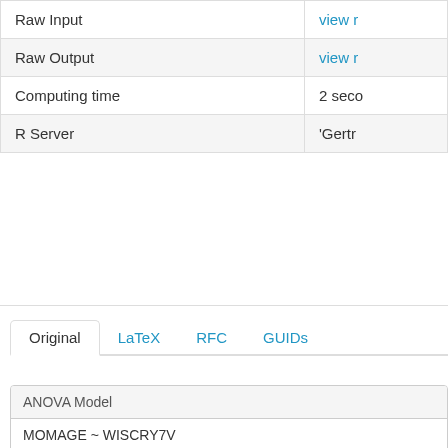|  |  |
| --- | --- |
| Raw Input | view r |
| Raw Output | view r |
| Computing time | 2 seco |
| R Server | 'Gertr |
Original  LaTeX  RFC  GUIDs
| ANOVA Model |
| --- |
| MOMAGE ~ WISCRY7V |
| means  2.333  2.143  2  2  2.5  2  2  2  2.333  3  2  2.5 |